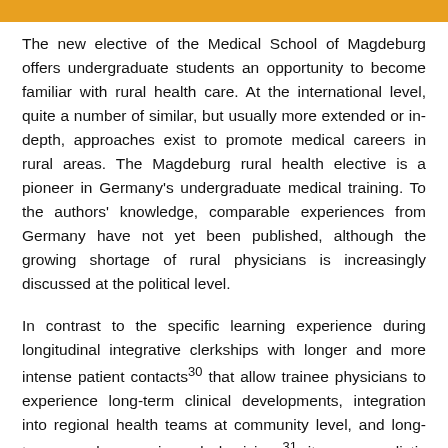The new elective of the Medical School of Magdeburg offers undergraduate students an opportunity to become familiar with rural health care. At the international level, quite a number of similar, but usually more extended or in-depth, approaches exist to promote medical careers in rural areas. The Magdeburg rural health elective is a pioneer in Germany's undergraduate medical training. To the authors' knowledge, comparable experiences from Germany have not yet been published, although the growing shortage of rural physicians is increasingly discussed at the political level.
In contrast to the specific learning experience during longitudinal integrative clerkships with longer and more intense patient contacts30 that allow trainee physicians to experience long-term clinical developments, integration into regional health teams at community level, and long-term care by experienced physicians31, it was unrealistic to strive for comparable objectives during two weekends...